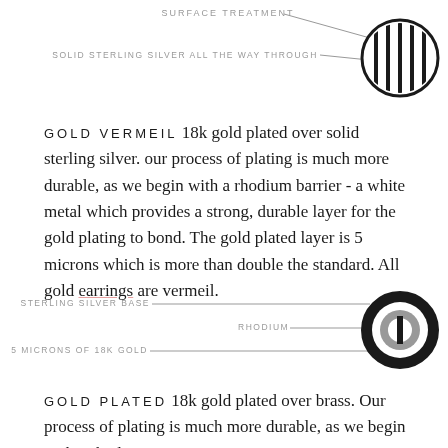[Figure (infographic): Diagram showing a circle with vertical stripes (solid sterling silver all the way through) with label 'SURFACE TREATMENT' and arrow pointing to circle, and label 'SOLID STERLING SILVER ALL THE WAY THROUGH' with arrow pointing to circle.]
GOLD VERMEIL 18k gold plated over solid sterling silver. our process of plating is much more durable, as we begin with a rhodium barrier - a white metal which provides a strong, durable layer for the gold plating to bond. The gold plated layer is 5 microns which is more than double the standard. All gold earrings are vermeil.
[Figure (infographic): Diagram showing a layered circle icon with three arrows and labels: 'STERLING SILVER BASE', 'RHODIUM', and '5 MICRONS OF 18K GOLD' pointing to respective layers of the circle.]
GOLD PLATED 18k gold plated over brass. Our process of plating is much more durable, as we begin with a rhodium